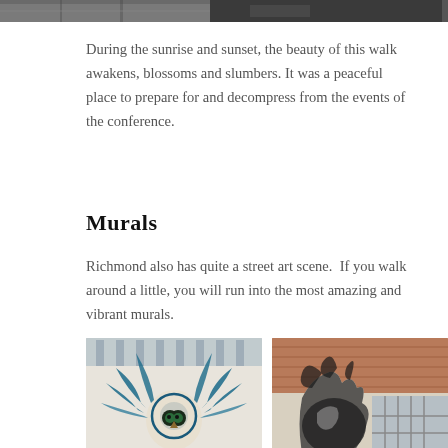[Figure (photo): Two photos at top of page — left: outdoor scene with stairs/railing, right: dark outdoor scene]
During the sunrise and sunset, the beauty of this walk awakens, blossoms and slumbers. It was a peaceful place to prepare for and decompress from the events of the conference.
Murals
Richmond also has quite a street art scene.  If you walk around a little, you will run into the most amazing and vibrant murals.
[Figure (photo): Two photos of street murals in Richmond — left: colorful mural of an owl-like creature with blue feathered wings, right: mural of a lion or feline figure on a brick building wall]